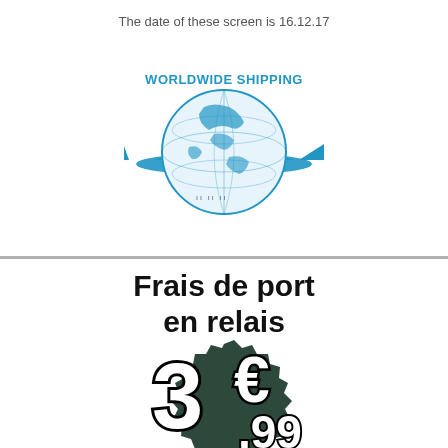The date of these screen is 16.12.17
[Figure (logo): Worldwide Shipping logo with a blue globe and airplane silhouette, text 'WORLDWIDE SHIPPING' in blue above the globe]
Frais de port en relais
[Figure (infographic): Price badge showing '3€,99' in large bold black and white text on a dark green jagged badge background]